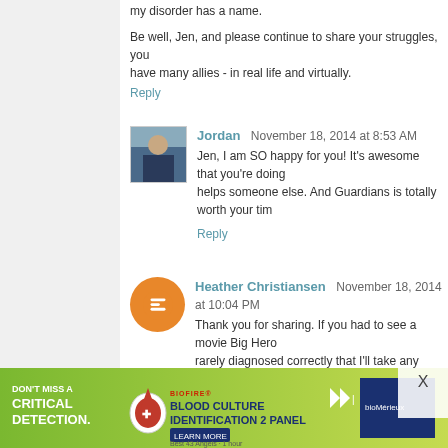my disorder has a name.
Be well, Jen, and please continue to share your struggles, you have many allies - in real life and virtually.
Reply
Jordan  November 18, 2014 at 8:53 AM
Jen, I am SO happy for you! It's awesome that you're doing helps someone else. And Guardians is totally worth your tim
Reply
Heather Christiansen  November 18, 2014 at 10:04 PM
Thank you for sharing. If you had to see a movie Big Hero rarely diagnosed correctly that I'll take any opportunity to sh Disorders Associated with Streptococcal Infections. It's a re it affects the neuro system much like Rheumatic Fever aff Individuals experience OCD and extreme anxiety (often mo more publicity, but many health professionals are not aware daughter had it. It was such a long journey to find answers.
Reply
[Figure (screenshot): Advertisement banner: BioFire Blood Culture Identification 2 Panel - Don't miss a critical detection. Learn More. bioMérieux logo.]